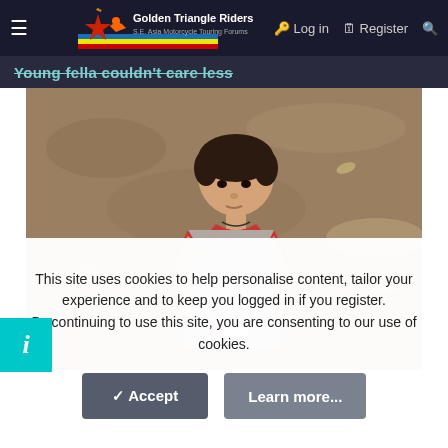Golden Triangle Riders — S.E. Asia Motorcycle Touring Forums | Log in | Register
Young fella couldn't care less
[Figure (photo): A young Asian boy standing on dusty/sandy ground, looking down at a small white object (possibly a phone or toy) he is holding in his hands. He is wearing a grey and red t-shirt and has a necklace on.]
This site uses cookies to help personalise content, tailor your experience and to keep you logged in if you register. By continuing to use this site, you are consenting to our use of cookies.
Accept   Learn more...